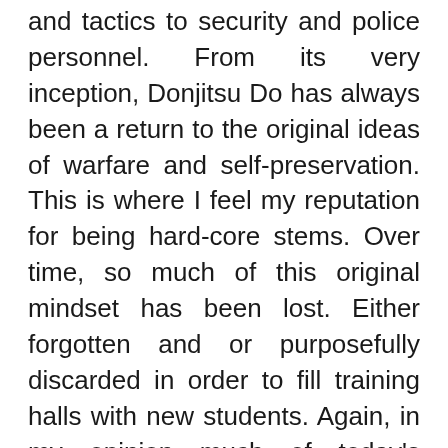and tactics to security and police personnel. From its very inception, Donjitsu Do has always been a return to the original ideas of warfare and self-preservation. This is where I feel my reputation for being hard-core stems. Over time, so much of this original mindset has been lost. Either forgotten and or purposefully discarded in order to fill training halls with new students. Again, in my opinion much of today's training has been watered down to make martial arts training enjoyable for the masses. This is not the case in my dojo and is the very reason why my dojo is small and private. The Samurai's battlefield life and death training and mentality are and have always been a large part of my curriculum. The techniques and ideas that I teach in this dojo are not to be practiced carelessly but taken very seriously, as they are designed for actual combat and have no business in any sport